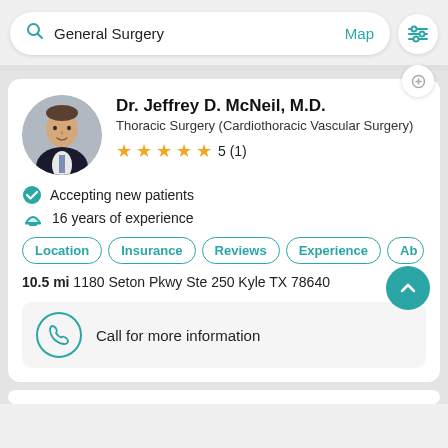General Surgery  Map
[Figure (photo): Circular profile photo of Dr. Jeffrey D. McNeil, M.D., a man in a dark suit and tie]
Dr. Jeffrey D. McNeil, M.D.
Thoracic Surgery (Cardiothoracic Vascular Surgery)
5 (1) — 5 stars, 1 review
Accepting new patients
16 years of experience
Location  Insurance  Reviews  Experience  Ab…
10.5 mi 1180 Seton Pkwy Ste 250 Kyle TX 78640
Call for more information